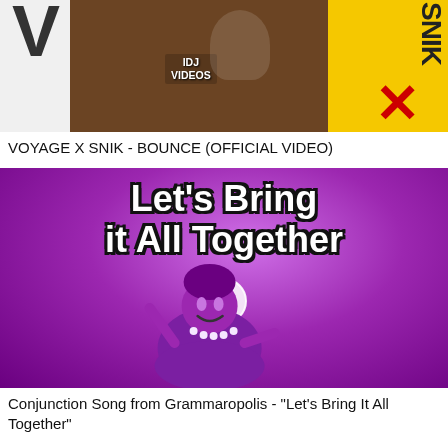[Figure (screenshot): Thumbnail for music video: VOYAGE X SNIK - BOUNCE (OFFICIAL VIDEO). Shows people in white shirts, dark background, yellow background on right, red X mark, SNIK text, IDJ VIDEOS watermark.]
VOYAGE X SNIK - BOUNCE (OFFICIAL VIDEO)
[Figure (screenshot): Thumbnail for educational video: Conjunction Song from Grammaropolis. Purple background with cartoon character (purple lady). Large white text reads 'Let's Bring it All Together'. Play button overlay visible.]
Conjunction Song from Grammaropolis - "Let's Bring It All Together"